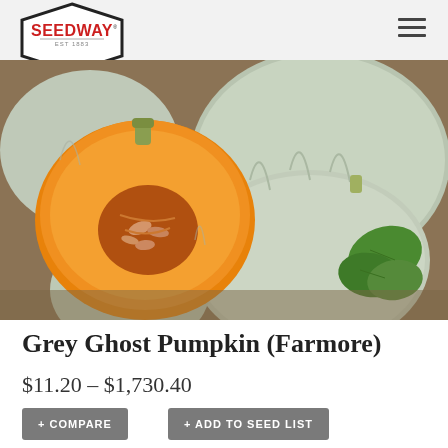Seedway
[Figure (photo): Photo of grey ghost pumpkins — several whole pale grey-white pumpkins grouped together, with one cut in half showing bright orange flesh and seeds inside, and green leaves visible at right]
Grey Ghost Pumpkin (Farmore)
$11.20 – $1,730.40
+ COMPARE
+ ADD TO SEED LIST